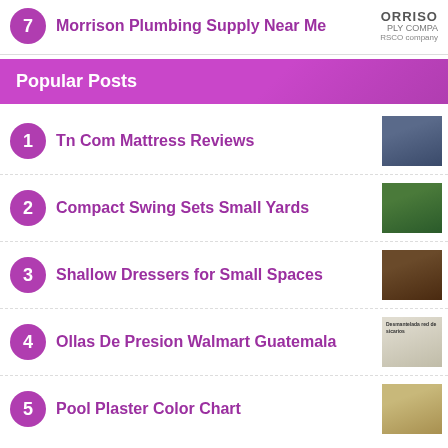7 Morrison Plumbing Supply Near Me
[Figure (logo): ORRISO PLY COMPA RSCO company logo text]
Popular Posts
1 Tn Com Mattress Reviews
[Figure (photo): Mattress/bed thumbnail image]
2 Compact Swing Sets Small Yards
[Figure (photo): Outdoor swing set thumbnail image]
3 Shallow Dressers for Small Spaces
[Figure (photo): Dark wood dresser thumbnail image]
4 Ollas De Presion Walmart Guatemala
[Figure (photo): Newspaper/article thumbnail image with text Desmantelada red de sicarios]
5 Pool Plaster Color Chart
[Figure (photo): Pool plaster color chart thumbnail]